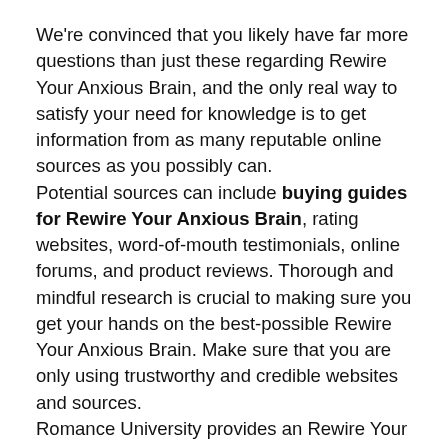We're convinced that you likely have far more questions than just these regarding Rewire Your Anxious Brain, and the only real way to satisfy your need for knowledge is to get information from as many reputable online sources as you possibly can.
Potential sources can include buying guides for Rewire Your Anxious Brain, rating websites, word-of-mouth testimonials, online forums, and product reviews. Thorough and mindful research is crucial to making sure you get your hands on the best-possible Rewire Your Anxious Brain. Make sure that you are only using trustworthy and credible websites and sources.
Romance University provides an Rewire Your Anxious Brain buying guide, and the information is totally objective and authentic. We employ both AI and big data in proofreading the collected information. How did we create this buying guide? We did it using a custom-